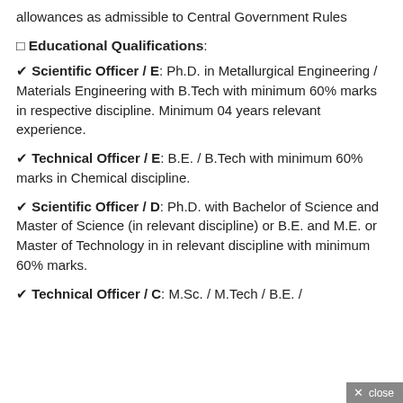allowances as admissible to Central Government Rules
❏ Educational Qualifications:
✔ Scientific Officer / E: Ph.D. in Metallurgical Engineering / Materials Engineering with B.Tech with minimum 60% marks in respective discipline. Minimum 04 years relevant experience.
✔ Technical Officer / E: B.E. / B.Tech with minimum 60% marks in Chemical discipline.
✔ Scientific Officer / D: Ph.D. with Bachelor of Science and Master of Science (in relevant discipline) or B.E. and M.E. or Master of Technology in in relevant discipline with minimum 60% marks.
✔ Technical Officer / C: M.Sc. / M.Tech / B.E. /